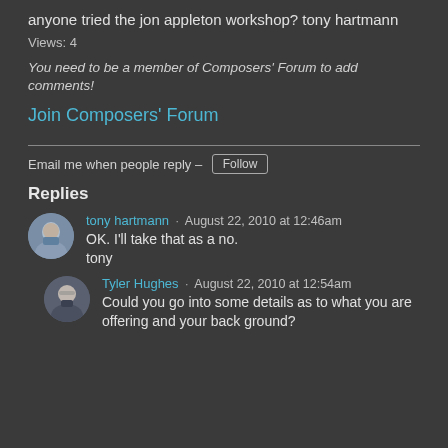anyone tried the jon appleton workshop? tony hartmann
Views: 4
You need to be a member of Composers' Forum to add comments!
Join Composers' Forum
Email me when people reply – Follow
Replies
tony hartmann · August 22, 2010 at 12:46am
OK. I'll take that as a no.
tony
Tyler Hughes · August 22, 2010 at 12:54am
Could you go into some details as to what you are offering and your back ground?